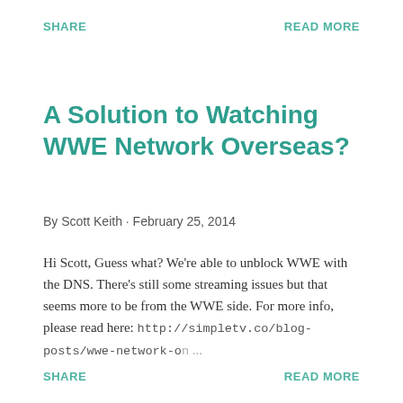SHARE    READ MORE
A Solution to Watching WWE Network Overseas?
By Scott Keith · February 25, 2014
Hi Scott, Guess what? We're able to unblock WWE with the DNS. There's still some streaming issues but that seems more to be from the WWE side. For more info, please read here: http://simpletv.co/blog-posts/wwe-network-on ...
SHARE    READ MORE